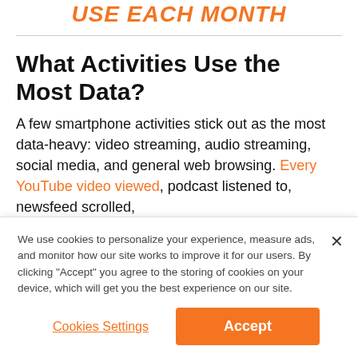USE EACH MONTH
What Activities Use the Most Data?
A few smartphone activities stick out as the most data-heavy: video streaming, audio streaming, social media, and general web browsing. Every YouTube video viewed, podcast listened to, newsfeed scrolled,
We use cookies to personalize your experience, measure ads, and monitor how our site works to improve it for our users. By clicking "Accept" you agree to the storing of cookies on your device, which will get you the best experience on our site.
Cookies Settings
Accept